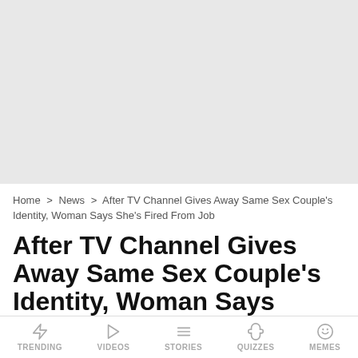[Figure (other): Gray advertisement placeholder banner at top of page]
Home > News > After TV Channel Gives Away Same Sex Couple's Identity, Woman Says She's Fired From Job
After TV Channel Gives Away Same Sex Couple's Identity, Woman Says She's Fired From Job
TRENDING  VIDEOS  STORIES  QUIZZES  MEMES